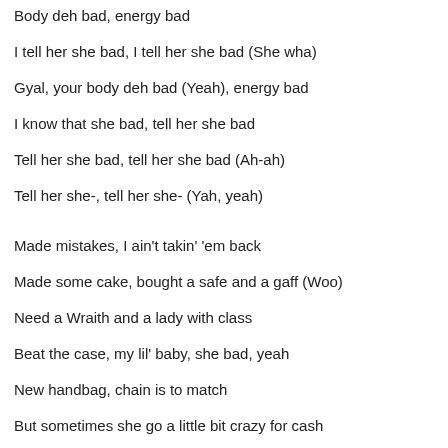Body deh bad, energy bad
I tell her she bad, I tell her she bad (She wha)
Gyal, your body deh bad (Yeah), energy bad
I know that she bad, tell her she bad
Tell her she bad, tell her she bad (Ah-ah)
Tell her she-, tell her she- (Yah, yeah)
Made mistakes, I ain't takin' 'em back
Made some cake, bought a safe and a gaff (Woo)
Need a Wraith and a lady with class
Beat the case, my lil' baby, she bad, yeah
New handbag, chain is to match
But sometimes she go a little bit crazy for cash
(Woo)